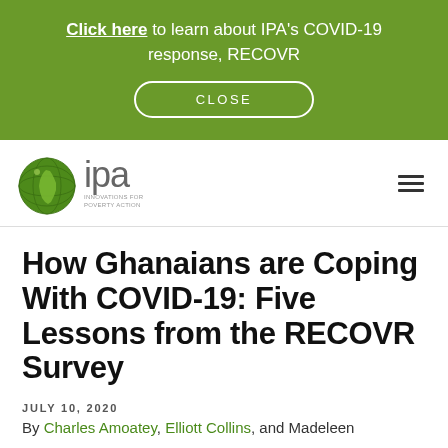Click here to learn about IPA's COVID-19 response, RECOVR
[Figure (logo): IPA (Innovations for Poverty Action) logo with globe and text]
How Ghanaians are Coping With COVID-19: Five Lessons from the RECOVR Survey
JULY 10, 2020
By Charles Amoatey, Elliott Collins, and Madeleen